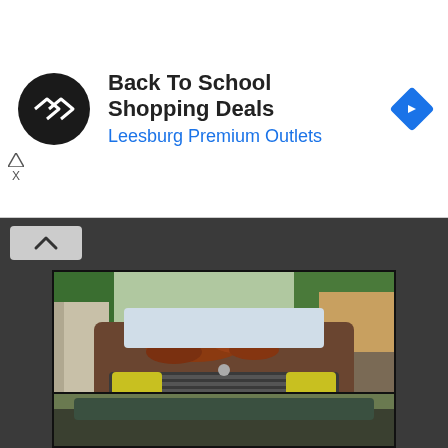[Figure (infographic): Advertisement banner: Back To School Shopping Deals at Leesburg Premium Outlets with circular black logo and blue diamond arrow icon]
Back To School Shopping Deals
Leesburg Premium Outlets
[Figure (photo): Front view of a heavily rusted and moss-covered old car parked in an overgrown area next to a house, with watermark www.TheRandomAutomotive.com]
[Figure (photo): Partial view of another old car, showing the top portion]